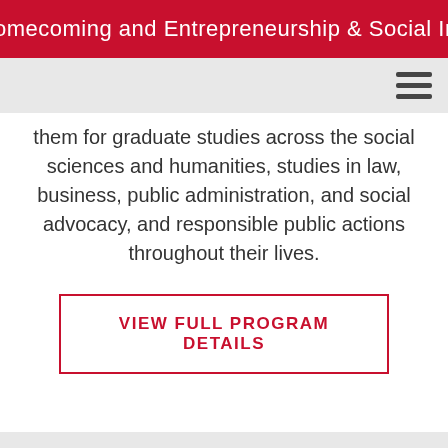Homecoming and Entrepreneurship & Social Inn
them for graduate studies across the social sciences and humanities, studies in law, business, public administration, and social advocacy, and responsible public actions throughout their lives.
VIEW FULL PROGRAM DETAILS
PROFESSORS